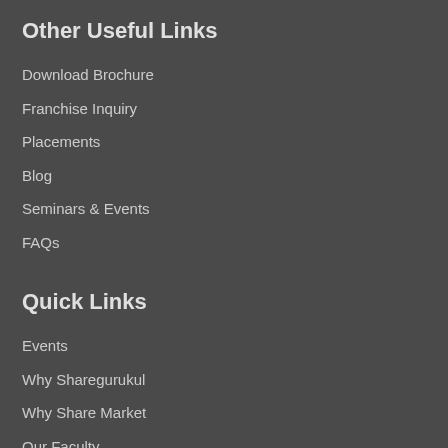Other Useful Links
Download Brochure
Franchise Inquiry
Placements
Blog
Seminars & Events
FAQs
Quick Links
Events
Why Sharegurukul
Why Share Market
Our Faculty
Our Group
Student Reviews